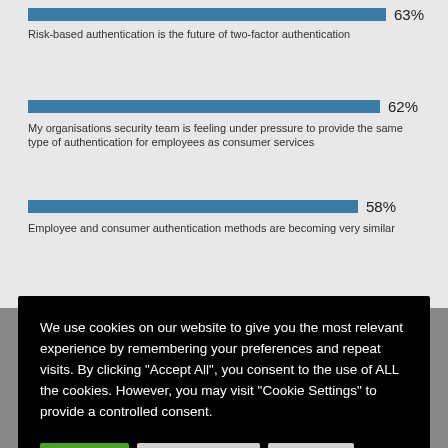[Figure (bar-chart): Authentication survey results]
We use cookies on our website to give you the most relevant experience by remembering your preferences and repeat visits. By clicking “Accept All”, you consent to the use of ALL the cookies. However, you may visit “Cookie Settings” to provide a controlled consent.